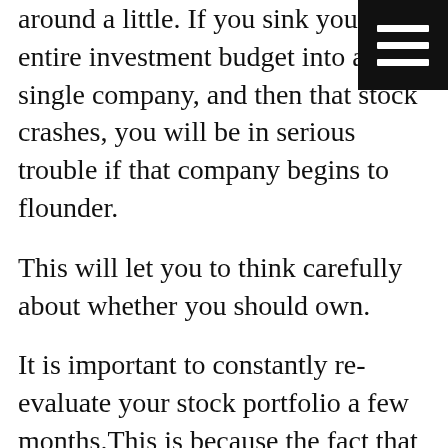around a little. If you sink your entire investment budget into a single company, and then that stock crashes, you will be in serious trouble if that company begins to flounder.
This will let you to think carefully about whether you should own.
It is important to constantly re-evaluate your stock portfolio a few months.This is because the fact that our economy is a constant basis. Some industries will advance, and some may become extinct. The best company to invest in may vary from year to year. You must watch your portfolio and change it as needed.
Don't invest in your company's stock. While owning stock in your employer company can make you feel proud, it also carries risk. If your